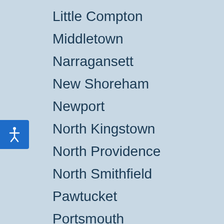Little Compton
Middletown
Narragansett
New Shoreham
Newport
North Kingstown
North Providence
North Smithfield
Pawtucket
Portsmouth
Providence
Richmond
Scituate
Smithfield
[Figure (illustration): Accessibility icon button: blue square with white human figure (universal access symbol)]